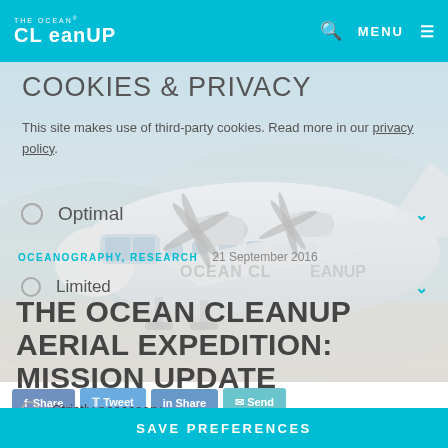THE OCEAN CLEANUP — MENU
[Figure (photo): Large cargo aircraft with 'Ocean Cleanup' livery on the fuselage, parked on a tarmac, viewed from the front-left with propellers visible]
COOKIES & PRIVACY
This site makes use of third-party cookies. Read more in our privacy policy.
Optimal
OCEANOGRAPHY, RESEARCH   21 September 2016
Limited
THE OCEAN CLEANUP AERIAL EXPEDITION: MISSION UPDATE
Strictly necessary
Share  Tweet  Share  Send
SAVE PREFERENCES